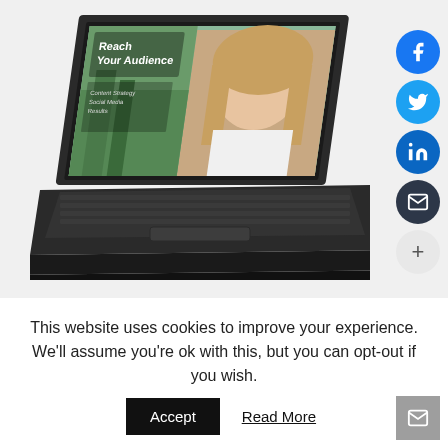[Figure (screenshot): A laptop computer showing a webpage with 'Reach Your Audience' text and a woman's photo on screen. Social share buttons (Facebook, Twitter, LinkedIn, Email, More) are stacked vertically on the right side.]
This website uses cookies to improve your experience. We'll assume you're ok with this, but you can opt-out if you wish.
Accept   Read More